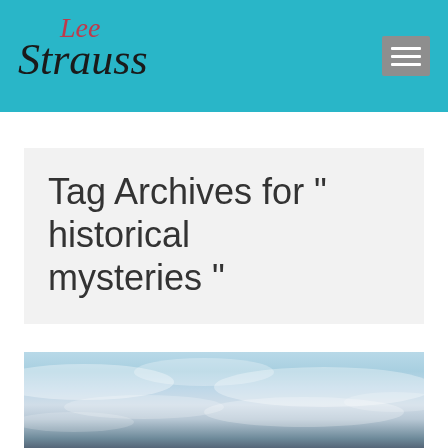Lee Strauss
Tag Archives for " historical mysteries "
[Figure (photo): Sky photo showing clouds over a landscape or sea, with blue tones and white wispy clouds]